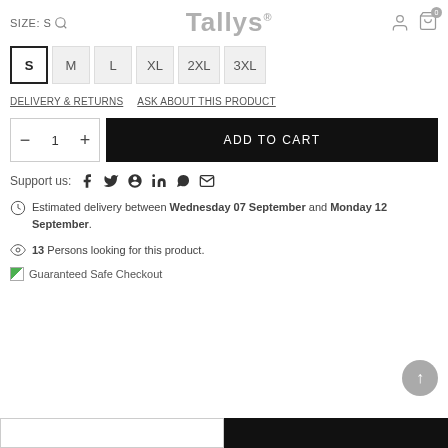SIZE: S  Tallys®
S  M  L  XL  2XL  3XL
DELIVERY & RETURNS    ASK ABOUT THIS PRODUCT
−  1  +   ADD TO CART
Support us: f  𝕏  P  in  WhatsApp  mail
Estimated delivery between Wednesday 07 September and Monday 12 September.
13 Persons looking for this product.
Guaranteed Safe Checkout